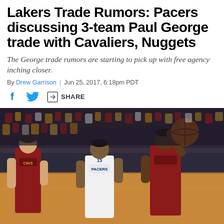Lakers Trade Rumors: Pacers discussing 3-team Paul George trade with Cavaliers, Nuggets
The George trade rumors are starting to pick up with free agency inching closer.
By Drew Garrison | Jun 25, 2017, 6:18pm PDT
[Figure (photo): Basketball game photo showing Indiana Pacers player (Paul George, #13) in white Pacers jersey defending against a Cleveland Cavaliers player holding a basketball, with another Cavaliers player on the left, crowd in background]
PACERS